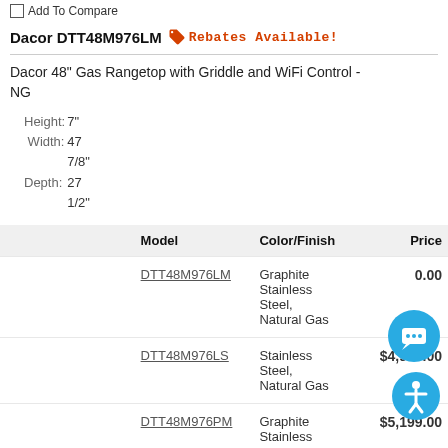Add To Compare
Dacor DTT48M976LM  Rebates Available!
Dacor 48" Gas Rangetop with Griddle and WiFi Control - NG
Height: 7"
Width: 47 7/8"
Depth: 27 1/2"
|  | Model | Color/Finish | Price |
| --- | --- | --- | --- |
|  | DTT48M976LM | Graphite Stainless Steel, Natural Gas | $5,199.00 |
|  | DTT48M976LS | Stainless Steel, Natural Gas | $4,999.00 |
|  | DTT48M976PM | Graphite Stainless | $5,199.00 |